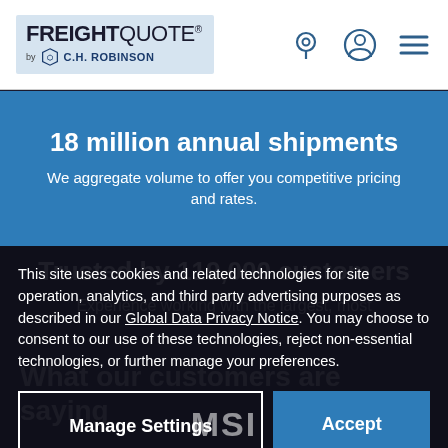[Figure (logo): FreightQuote by C.H. Robinson logo in a light blue box, with navigation icons (location pin, user, hamburger menu) on the right]
18 million annual shipments
We aggregate volume to offer you competitive pricing and rates.
Trusted by 119,000 customers
Experience working with the largest, most
This site uses cookies and related technologies for site operation, analytics, and third party advertising purposes as described in our Global Data Privacy Notice. You may choose to consent to our use of these technologies, reject non-essential technologies, or further manage your preferences.
What our customers are saying
Manage Settings
Accept